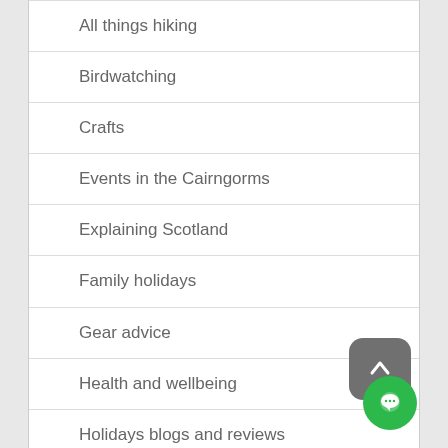All things hiking
Birdwatching
Crafts
Events in the Cairngorms
Explaining Scotland
Family holidays
Gear advice
Health and wellbeing
Holidays blogs and reviews
News